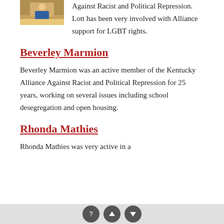[Figure (photo): Small photo of a person at the top left corner]
Against Racist and Political Repression. Lott has been very involved with Alliance support for LGBT rights.
Beverley Marmion
Beverley Marmion was an active member of the Kentucky Alliance Against Racist and Political Repression for 25 years, working on several issues including school desegregation and open housing.
Rhonda Mathies
Rhonda Mathies was very active in a
? ↑ ↓